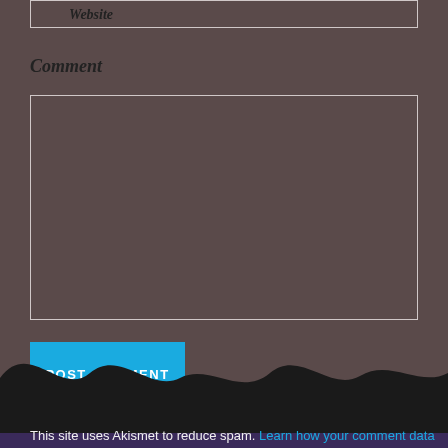Website
Comment
[Figure (other): Empty comment text area input box]
Post Comment
This site uses Akismet to reduce spam. Learn how your comment data is processed.
[Figure (illustration): Black wave/hill silhouette decorative footer element]